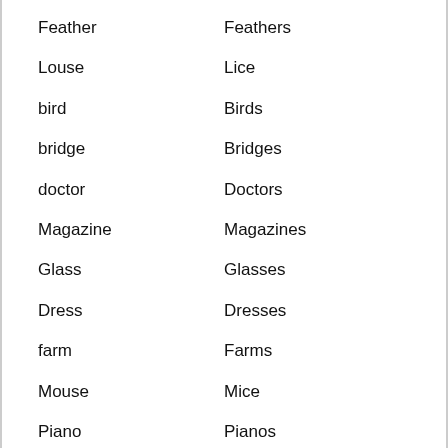Feather
Feathers
Louse
Lice
bird
Birds
bridge
Bridges
doctor
Doctors
Magazine
Magazines
Glass
Glasses
Dress
Dresses
farm
Farms
Mouse
Mice
Piano
Pianos